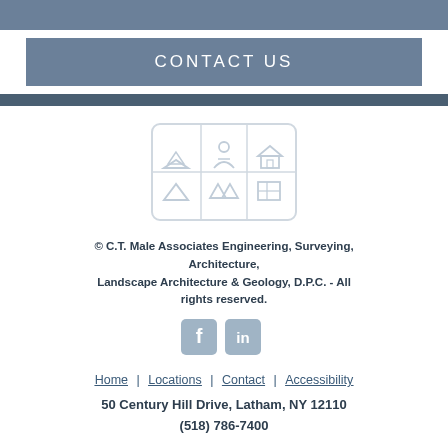CONTACT US
[Figure (logo): CT Male Associates logo grid with 6 icons representing architecture, surveying, landscape architecture and other engineering disciplines in a 2x3 grid layout]
© C.T. Male Associates Engineering, Surveying, Architecture, Landscape Architecture & Geology, D.P.C. - All rights reserved.
[Figure (logo): Social media icons: Facebook (f) and LinkedIn (in) in gray/blue rounded squares]
Home | Locations | Contact | Accessibility
50 Century Hill Drive, Latham, NY 12110
(518) 786-7400